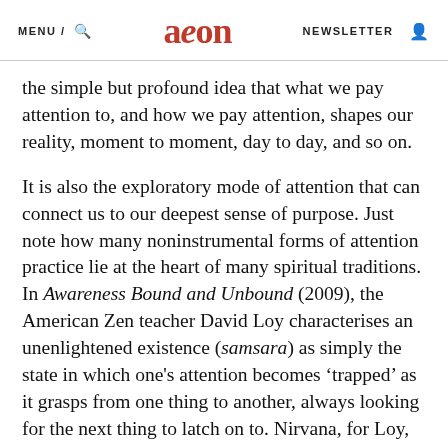MENU / [search] aeon NEWSLETTER [profile]
the simple but profound idea that what we pay attention to, and how we pay attention, shapes our reality, moment to moment, day to day, and so on.
It is also the exploratory mode of attention that can connect us to our deepest sense of purpose. Just note how many noninstrumental forms of attention practice lie at the heart of many spiritual traditions. In Awareness Bound and Unbound (2009), the American Zen teacher David Loy characterises an unenlightened existence (samsara) as simply the state in which one's attention becomes ‘trapped’ as it grasps from one thing to another, always looking for the next thing to latch on to. Nirvana, for Loy, is simply a free and open attention that is completely